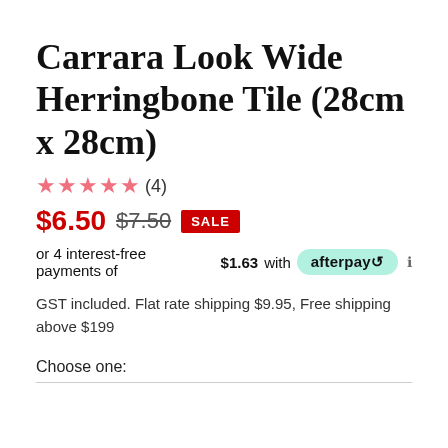Carrara Look Wide Herringbone Tile (28cm x 28cm)
★★★★★ (4)
$6.50  $7.50  SALE
or 4 interest-free payments of $1.63 with afterpay ℹ
GST included. Flat rate shipping $9.95, Free shipping above $199
Choose one: